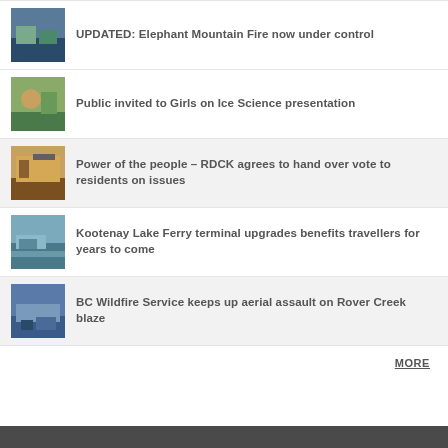UPDATED: Elephant Mountain Fire now under control
Public invited to Girls on Ice Science presentation
Power of the people – RDCK agrees to hand over vote to residents on issues
Kootenay Lake Ferry terminal upgrades benefits travellers for years to come
BC Wildfire Service keeps up aerial assault on Rover Creek blaze
MORE